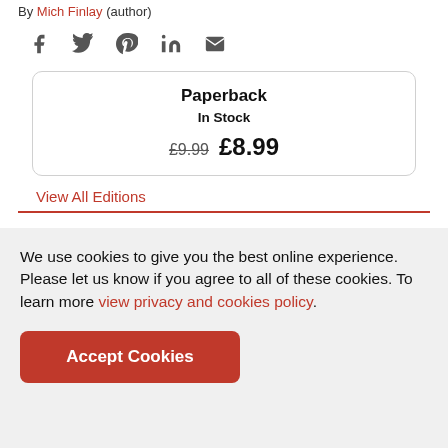By Mich Finlay (author)
[Figure (infographic): Social sharing icons: Facebook, Twitter, Pinterest, LinkedIn, Email]
Paperback
In Stock
£9.99 £8.99
View All Editions
We use cookies to give you the best online experience. Please let us know if you agree to all of these cookies. To learn more view privacy and cookies policy.
Accept Cookies